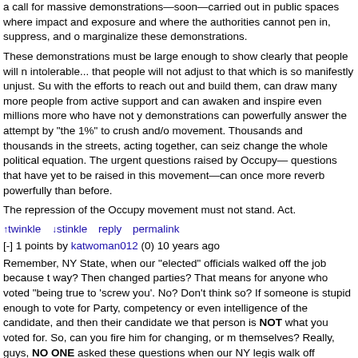a call for massive demonstrations—soon—carried out in public spaces where impact and exposure and where the authorities cannot pen in, suppress, and marginalize these demonstrations.
These demonstrations must be large enough to show clearly that people will not intolerable... that people will not adjust to that which is so manifestly unjust. Such, with the efforts to reach out and build them, can draw many more people from active support and can awaken and inspire even millions more who have not yet. demonstrations can powerfully answer the attempt by "the 1%" to crush and/or movement. Thousands and thousands in the streets, acting together, can seize change the whole political equation. The urgent questions raised by Occupy— questions that have yet to be raised in this movement—can once more reverberate powerfully than before.
The repression of the Occupy movement must not stand. Act.
↑twinkle  ↓stinkle  reply  permalink
[-] 1 points by katwoman012 (0) 10 years ago
Remember, NY State, when our "elected" officials walked off the job because way? Then changed parties? That means for anyone who voted "being true to 'screw you'. No? Don't think so? If someone is stupid enough to vote for Party, competency or even intelligence of the candidate, and then their candidate we that person is NOT what you voted for. So, can you fire him for changing, or m themselves? Really, guys, NO ONE asked these questions when our NY legis walk off (however, there's much doubt that eliminating our politicians would ha our society). Would it not be a better world if we eliminated ALL political parties and maybe even put a lid on campaign specialists. ONE PARTY, different opini get rid of the lying, cheating, labels, backbiting, thieving, lying (oops) Political P who a jackass' mindset, the lying (oops again). Yes, it's their party, at OUR exp having to foot the bill for a party that lasts 365 days a year, every year. They n PARTY! No elections? YOUR needs? Pav our bills? Well here's what I'm thinki